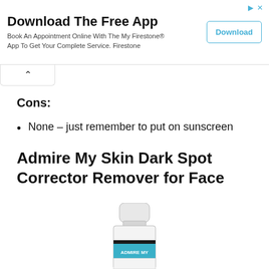[Figure (screenshot): Advertisement banner: 'Download The Free App - Book An Appointment Online With The My Firestone® App To Get Your Complete Service. Firestone' with a 'Download' button]
Cons:
None – just remember to put on sunscreen
Admire My Skin Dark Spot Corrector Remover for Face
[Figure (photo): Product bottle of Admire My Skin Dark Spot Corrector Remover, white bottle with teal/black label reading ADMIRE MY]